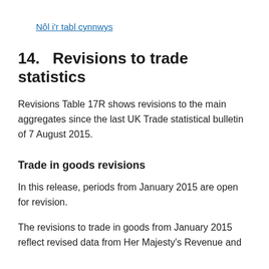Nôl i'r tabl cynnwys
14.   Revisions to trade statistics
Revisions Table 17R shows revisions to the main aggregates since the last UK Trade statistical bulletin of 7 August 2015.
Trade in goods revisions
In this release, periods from January 2015 are open for revision.
The revisions to trade in goods from January 2015 reflect revised data from Her Majesty's Revenue and